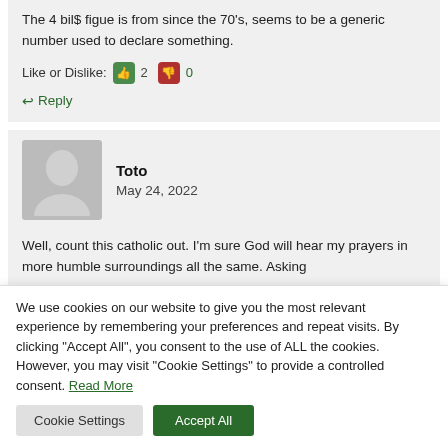The 4 bil$ figue is from since the 70's, seems to be a generic number used to declare something.
Like or Dislike: 2 0
Reply
Toto
May 24, 2022
Well, count this catholic out. I'm sure God will hear my prayers in more humble surroundings all the same. Asking
We use cookies on our website to give you the most relevant experience by remembering your preferences and repeat visits. By clicking "Accept All", you consent to the use of ALL the cookies. However, you may visit "Cookie Settings" to provide a controlled consent. Read More
Cookie Settings
Accept All